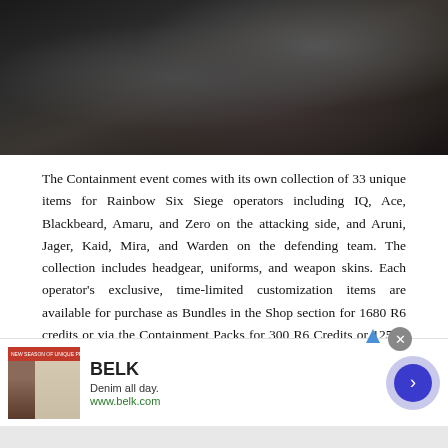[Figure (photo): Dark game screenshot showing a heavily armored character from Rainbow Six Siege, with detailed metallic textures in dark tones]
The Containment event comes with its own collection of 33 unique items for Rainbow Six Siege operators including IQ, Ace, Blackbeard, Amaru, and Zero on the attacking side, and Aruni, Jager, Kaid, Mira, and Warden on the defending team. The collection includes headgear, uniforms, and weapon skins. Each operator's exclusive, time-limited customization items are available for purchase as Bundles in the Shop section for 1680 R6 credits or via the Containment Packs for 300 R6 Credits or 12500 Renown.
[Figure (photo): Advertisement for BELK - Denim all day. www.belk.com - showing fashion/book imagery with a person and books thumbnail]